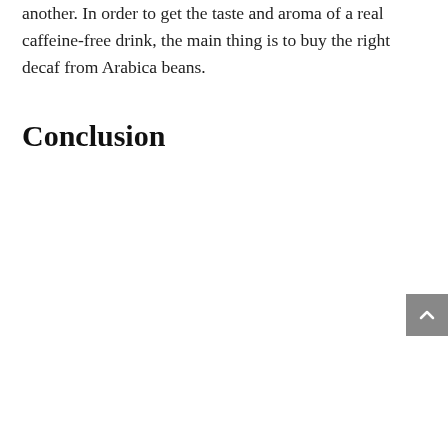another. In order to get the taste and aroma of a real caffeine-free drink, the main thing is to buy the right decaf from Arabica beans.
Conclusion